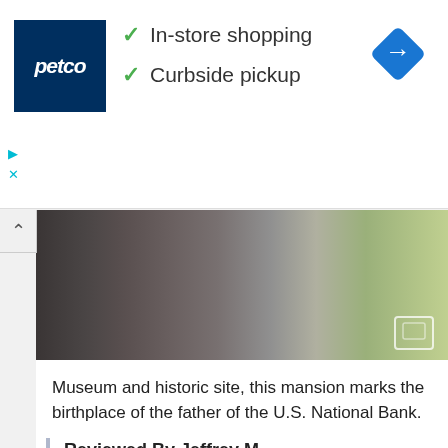[Figure (screenshot): Petco advertisement banner with logo, In-store shopping and Curbside pickup checkmarks, and a blue navigation diamond icon]
[Figure (photo): Outdoor photo strip showing a historic stone building exterior with trees and grass]
Museum and historic site, this mansion marks the birthplace of the father of the U.S. National Bank.
Reviewed By Jeffrey M - Williamsburg, Virginia
No, this is not one of the greatest historical museums that you have ever visited. However, suck it up and support the locals who are trying to promote their very real niche history. Pay the reasonable admission fee and spend 30 minutes Reading about Alexander Hamilton and Nevis. The woman